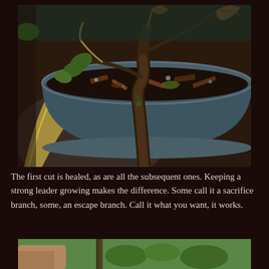[Figure (photo): A bonsai tree in a dark blue/gray round pot sitting on what appears to be a stone surface. The tree has a gnarled trunk with some green leaves and brown/dried leaves visible. The soil appears dark and wet with some bark/mulch. A curved pale yellow root or branch arcs around the left side of the pot.]
The first cut is healed, as are all the subsequent ones. Keeping a strong leader growing makes the difference. Some call it a sacrifice branch, some, an escape branch. Call it what you want, it works.
[Figure (photo): Partial view of a second photo showing hands holding what appears to be a small plant or cutting with green foliage visible against an outdoor background.]